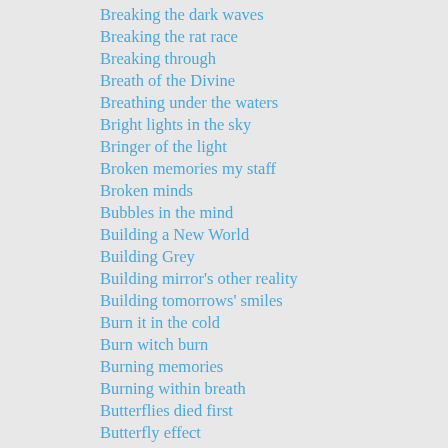Breaking the dark waves
Breaking the rat race
Breaking through
Breath of the Divine
Breathing under the waters
Bright lights in the sky
Bringer of the light
Broken memories my staff
Broken minds
Bubbles in the mind
Building a New World
Building Grey
Building mirror's other reality
Building tomorrows' smiles
Burn it in the cold
Burn witch burn
Burning memories
Burning within breath
Butterflies died first
Butterfly effect